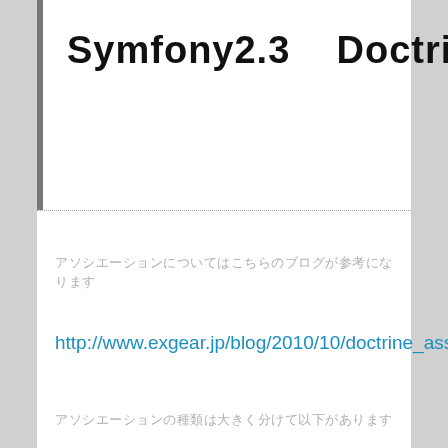Symfony2.3    Doctrine2
アソシエーションについてはこちらのブログが参考になります
http://www.exgear.jp/blog/2010/10/doctrine_association/
アソシエーションの種類は大きく分けて以下があります